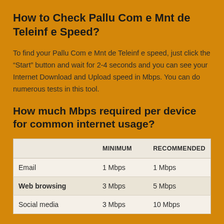How to Check Pallu Com e Mnt de Teleinf e Speed?
To find your Pallu Com e Mnt de Teleinf e speed, just click the “Start” button and wait for 2-4 seconds and you can see your Internet Download and Upload speed in Mbps. You can do numerous tests in this tool.
How much Mbps required per device for common internet usage?
|  | MINIMUM | RECOMMENDED |
| --- | --- | --- |
| Email | 1 Mbps | 1 Mbps |
| Web browsing | 3 Mbps | 5 Mbps |
| Social media | 3 Mbps | 10 Mbps |